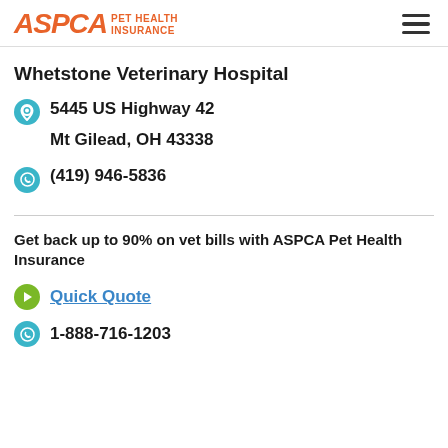ASPCA PET HEALTH INSURANCE
Whetstone Veterinary Hospital
5445 US Highway 42
Mt Gilead, OH 43338
(419) 946-5836
Get back up to 90% on vet bills with ASPCA Pet Health Insurance
Quick Quote
1-888-716-1203